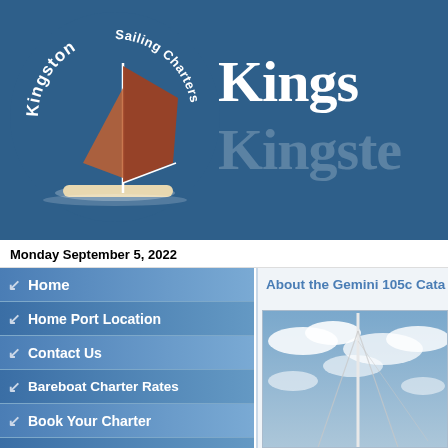[Figure (logo): Kingston Sailing Charters logo with a red-sailed sailboat and circular text reading Kingston Sailing Charters on a blue background]
Kings
Kingste
Monday September 5, 2022
Home
Home Port Location
Contact Us
Bareboat Charter Rates
Book Your Charter
Yacht Equipment List
Packing Tips
Photo Gallery
About the Gemini 105c Cata
[Figure (photo): Photo of a sailboat mast against a blue cloudy sky]